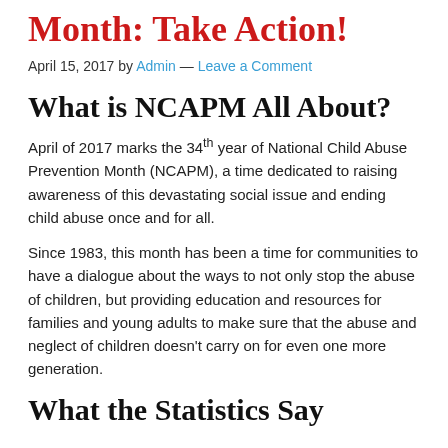Month: Take Action!
April 15, 2017 by Admin — Leave a Comment
What is NCAPM All About?
April of 2017 marks the 34th year of National Child Abuse Prevention Month (NCAPM), a time dedicated to raising awareness of this devastating social issue and ending child abuse once and for all.
Since 1983, this month has been a time for communities to have a dialogue about the ways to not only stop the abuse of children, but providing education and resources for families and young adults to make sure that the abuse and neglect of children doesn't carry on for even one more generation.
What the Statistics Say